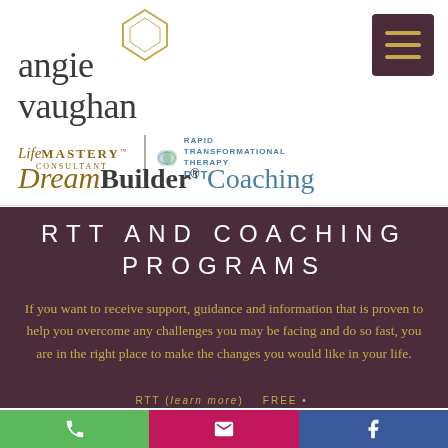[Figure (logo): Angie Vaughan LifeMastery Consultant RTT Rapid Transformational Therapy DreamBuilder Coaching logo header]
RTT AND COACHING PROGRAMS
If you want to receive support, guidance and information that is proven to help you overcome any challenges you may be facing and do so fast, you are in the right place to make the changes you would like in your life.
[Figure (screenshot): Bottom contact bar with phone (green), email (pink/magenta), and Facebook (blue) icons]